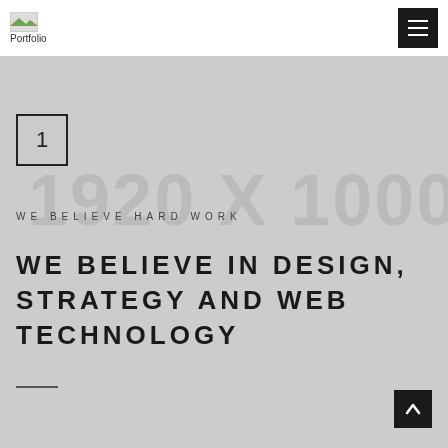[Figure (logo): Fontein Portfolio logo with small image icon and text below]
[Figure (other): Hamburger menu button (three horizontal lines on dark background)]
1
[Figure (other): Large watermark text reading '1920 X 1000' in light gray]
WE BELIEVE HARD WORK
WE BELIEVE IN DESIGN, STRATEGY AND WEB TECHNOLOGY
[Figure (other): Short horizontal decorative line]
[Figure (other): Scroll to top button with chevron up icon]